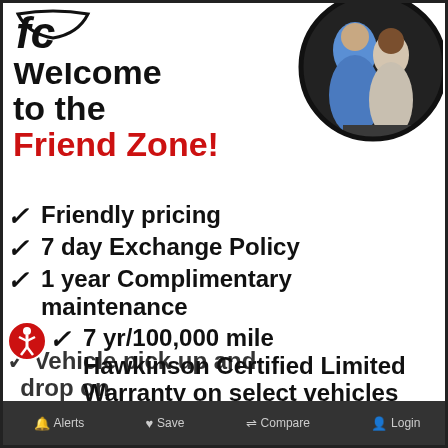[Figure (logo): Dealership logo in top-left corner]
[Figure (photo): Circular cropped photo of a smiling couple in top-right area]
Welcome to the Friend Zone!
Friendly pricing
7 day Exchange Policy
1 year Complimentary maintenance
7 yr/100,000 mile Hawkinson Certified Limited Warranty on select vehicles
Vehicle pick up and drop on
Alerts  Save  Compare  Login